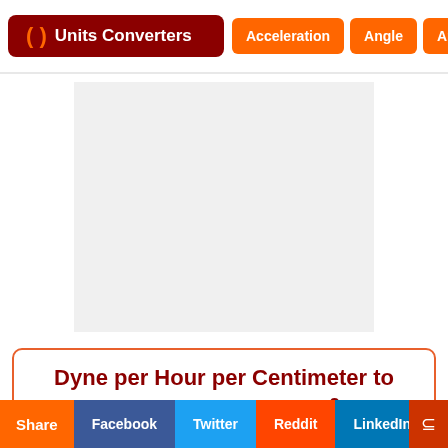() Units Converters | Acceleration | Angle | Area
[Figure (other): Advertisement placeholder area, light gray rectangle]
Dyne per Hour per Centimeter to Horsepower per Foot²
(dyn/h·cm to hp/ft²)
Share | Facebook | Twitter | Reddit | LinkedIn